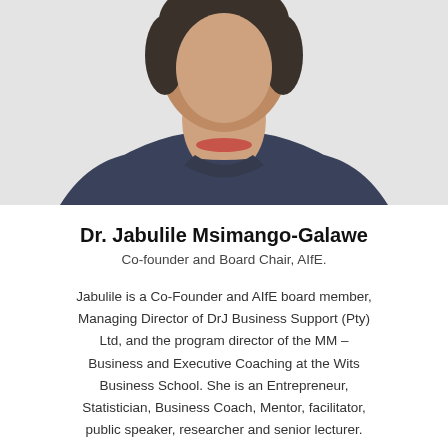[Figure (photo): Portrait photo of Dr. Jabulile Msimango-Galawe, a woman in a dark navy blazer with a red necklace, photographed from shoulders up against a light background.]
Dr. Jabulile Msimango-Galawe
Co-founder and Board Chair, AIfE.
Jabulile is a Co-Founder and AIfE board member, Managing Director of DrJ Business Support (Pty) Ltd, and the program director of the MM – Business and Executive Coaching at the Wits Business School. She is an Entrepreneur, Statistician, Business Coach, Mentor, facilitator, public speaker, researcher and senior lecturer.
She holds a PhD in Entrepreneurship (Wits Business School) and an MSc in Mathematical